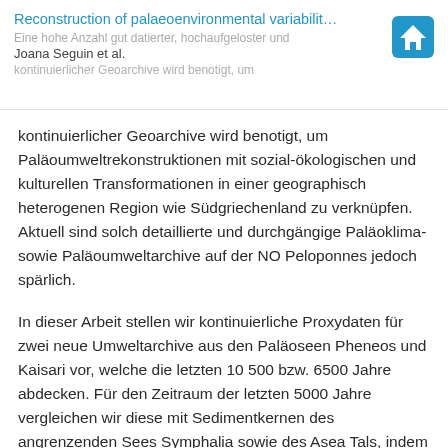Reconstruction of palaeoenvironmental variabilit...
Eine hohe Anzahl gut datierter, hochaufgeloster und
Joana Seguin et al.
kontinuierlicher Geoarchive wird benotigt, um
kontinuierlicher Geoarchive wird benotigt, um Paläoumweltrekonstruktionen mit sozial-ökologischen und kulturellen Transformationen in einer geographisch heterogenen Region wie Südgriechenland zu verknüpfen. Aktuell sind solch detaillierte und durchgängige Paläoklima- sowie Paläoumweltarchive auf der NO Peloponnes jedoch spärlich.
In dieser Arbeit stellen wir kontinuierliche Proxydaten für zwei neue Umweltarchive aus den Paläoseen Pheneos und Kaisari vor, welche die letzten 10 500 bzw. 6500 Jahre abdecken. Für den Zeitraum der letzten 5000 Jahre vergleichen wir diese mit Sedimentkernen des angrenzenden Sees Symphalia sowie des Asea Tals, indem wir für alle vier lakustrinen Archive die gleichen sedimentologischen, geochemischen und statistischen